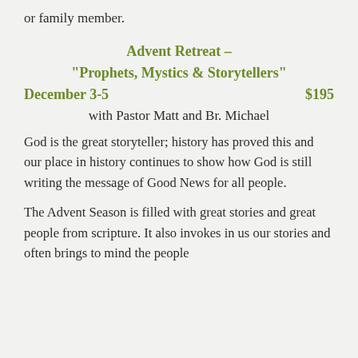or family member.
Advent Retreat –
“Prophets, Mystics & Storytellers”
December 3-5                              $195
with Pastor Matt and Br. Michael
God is the great storyteller; history has proved this and our place in history continues to show how God is still writing the message of Good News for all people.
The Advent Season is filled with great stories and great people from scripture. It also invokes in us our stories and often brings to mind the people